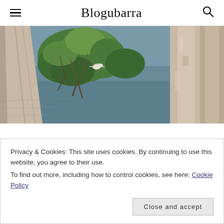Blogubarra
[Figure (photo): Outdoor nature scene with eucalyptus trees, green foliage, and a body of water visible in the background. A bird can be spotted among the branches.]
A place to pray my way in Shanghai
Privacy & Cookies: This site uses cookies. By continuing to use this website, you agree to their use.
To find out more, including how to control cookies, see here: Cookie Policy
Close and accept